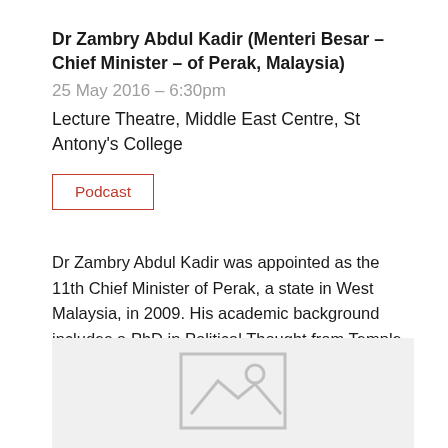Dr Zambry Abdul Kadir (Menteri Besar – Chief Minister – of Perak, Malaysia)
25 May 2016 – 6:30pm
Lecture Theatre, Middle East Centre, St Antony's College
Podcast
Dr Zambry Abdul Kadir was appointed as the 11th Chief Minister of Perak, a state in West Malaysia, in 2009. His academic background includes a PhD in Political Thought from Temple University,… Read more
[Figure (other): Placeholder image thumbnail at the bottom of the page showing a generic image icon with a mountain/photo symbol in grey]